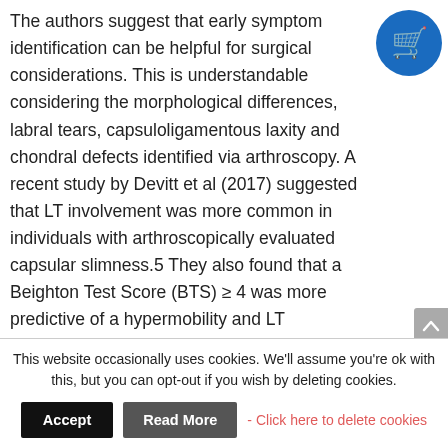The authors suggest that early symptom identification can be helpful for surgical considerations. This is understandable considering the morphological differences, labral tears, capsuloligamentous laxity and chondral defects identified via arthroscopy.  A recent study by Devitt et al (2017) suggested that LT involvement was more common in individuals with arthroscopically evaluated capsular slimness.5  They also found that a Beighton Test Score (BTS) ≥ 4 was more predictive of a hypermobility and LT pathology.
[Figure (illustration): Blue circular shopping cart icon in top right corner]
This website occasionally uses cookies. We'll assume you're ok with this, but you can opt-out if you wish by deleting cookies.
Accept | Read More - Click here to delete cookies